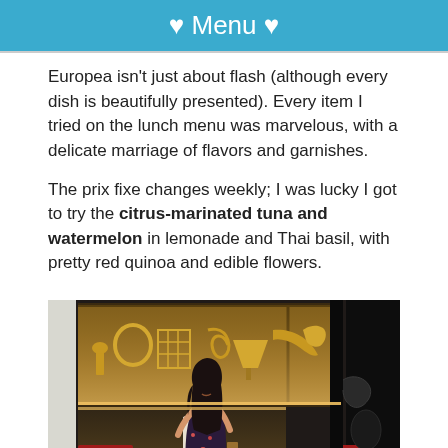♥ Menu ♥
Europea isn't just about flash (although every dish is beautifully presented). Every item I tried on the lunch menu was marvelous, with a delicate marriage of flavors and garnishes.
The prix fixe changes weekly; I was lucky I got to try the citrus-marinated tuna and watermelon in lemonade and Thai basil, with pretty red quinoa and edible flowers.
[Figure (photo): A woman in a floral dress standing in a stylish restaurant interior with illuminated shelves displaying decorative gold objects and red lounge chairs.]